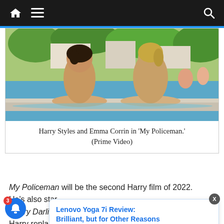Navigation bar with home, menu, and search icons
[Figure (photo): Two people (young man and young woman) leaning on edge of a swimming pool, looking at each other. Pool scene with other people and trees in background.]
Harry Styles and Emma Corrin in 'My Policeman.' (Prime Video)
My Policeman will be the second Harry film of 2022. He's also star...Worry Darling...iend Oliv...Harry replaced Shia LaBeouf after the actor was
Lenovo Yoga 7i Review: Brilliant, but for Other Reasons
23 minutes ago